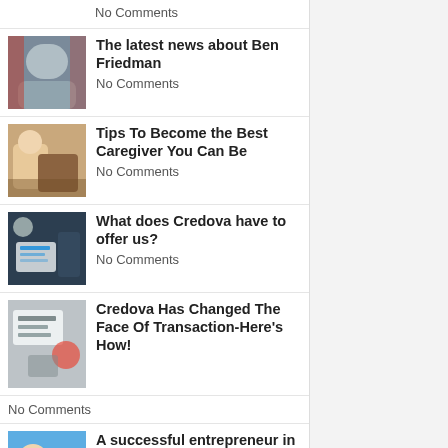No Comments
[Figure (photo): Photo of Ben Friedman, an elderly man in suit with US flag background]
The latest news about Ben Friedman
No Comments
[Figure (photo): Photo of caregiver helping elderly person]
Tips To Become the Best Caregiver You Can Be
No Comments
[Figure (photo): Photo of person reviewing financial charts/documents]
What does Credova have to offer us?
No Comments
[Figure (photo): Photo of office/business setting with people working]
Credova Has Changed The Face Of Transaction-Here's How!
No Comments
[Figure (photo): Photo of a successful entrepreneur, older man smiling]
A successful entrepreneur in America with intense passion and ambition
No Comments